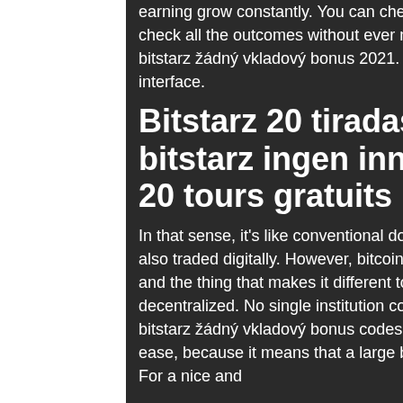earning grow constantly. You can check, double-check, and triple-check all the outcomes without ever needing to trust the house, bitstarz žádný vkladový bonus 2021. TrustDice crypto gambling site interface.
Bitstarz 20 tiradas gratis, bitstarz ingen innskuddsbonus 20 tours gratuits
In that sense, it's like conventional dollars, euros, or yen, which are also traded digitally. However, bitcoin's most important characteristic, and the thing that makes it different to conventional money, is that it is decentralized. No single institution controls the bitcoin network, bitstarz žádný vkladový bonus codes 2021. This puts some people at ease, because it means that a large bank can't control their money. For a nice and